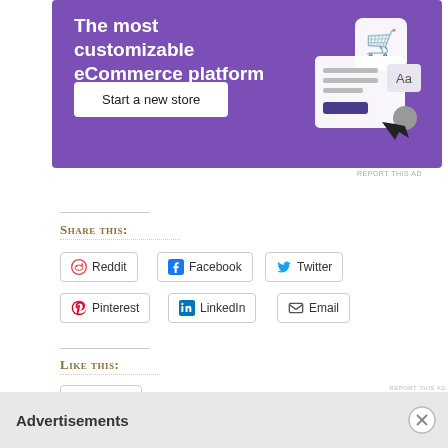[Figure (screenshot): Purple eCommerce platform advertisement banner with text 'The most customizable eCommerce platform', a 'Start a new store' button, and an illustration of a shopping cart and web page interface on the right.]
Share this:
Reddit
Facebook
Twitter
Pinterest
LinkedIn
Email
Like this:
Like
Advertisements